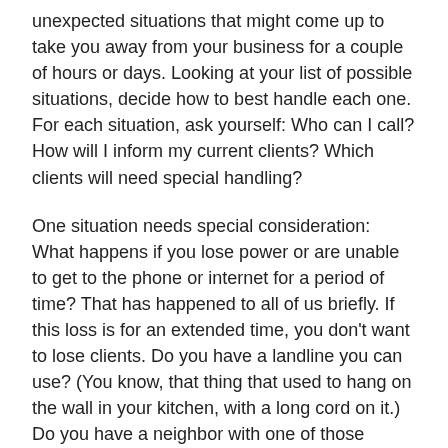unexpected situations that might come up to take you away from your business for a couple of hours or days. Looking at your list of possible situations, decide how to best handle each one. For each situation, ask yourself: Who can I call? How will I inform my current clients? Which clients will need special handling?
One situation needs special consideration: What happens if you lose power or are unable to get to the phone or internet for a period of time? That has happened to all of us briefly. If this loss is for an extended time, you don't want to lose clients. Do you have a landline you can use? (You know, that thing that used to hang on the wall in your kitchen, with a long cord on it.) Do you have a neighbor with one of those landline things? Where's the nearest wi-fi hotspot?